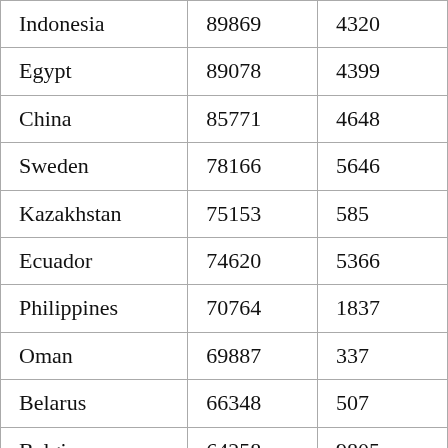| Indonesia | 89869 | 4320 |
| Egypt | 89078 | 4399 |
| China | 85771 | 4648 |
| Sweden | 78166 | 5646 |
| Kazakhstan | 75153 | 585 |
| Ecuador | 74620 | 5366 |
| Philippines | 70764 | 1837 |
| Oman | 69887 | 337 |
| Belarus | 66348 | 507 |
| Belgium | 64258 | 9805 |
| Bolivia | 62357 | 2273 |